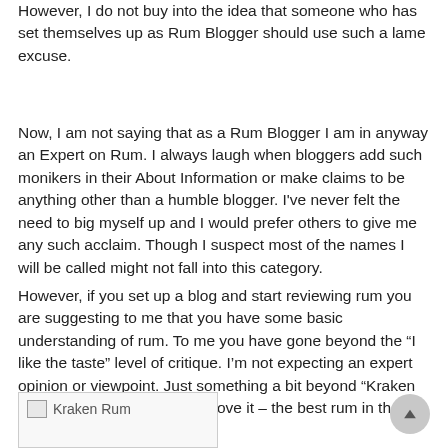However, I do not buy into the idea that someone who has set themselves up as Rum Blogger should use such a lame excuse.
Now, I am not saying that as a Rum Blogger I am in anyway an Expert on Rum. I always laugh when bloggers add such monikers in their About Information or make claims to be anything other than a humble blogger. I've never felt the need to big myself up and I would prefer others to give me any such acclaim. Though I suspect most of the names I will be called might not fall into this category.
However, if you set up a blog and start reviewing rum you are suggesting to me that you have some basic understanding of rum. To me you have gone beyond the “I like the taste” level of critique. I’m not expecting an expert opinion or viewpoint. Just something a bit beyond “Kraken is really sweet and smooth I love it – the best rum in the world”
[Figure (photo): Kraken Rum image placeholder with broken image icon and alt text 'Kraken Rum']